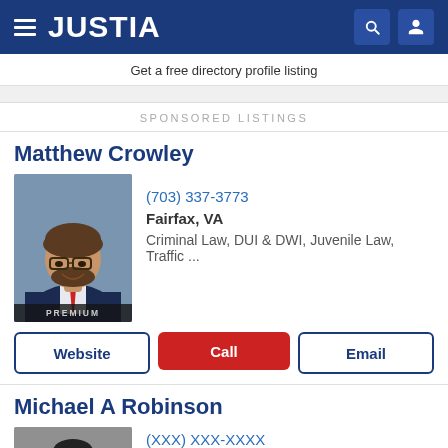JUSTIA
Get a free directory profile listing
SPONSORED LISTINGS
Matthew Crowley
[Figure (photo): Professional headshot of Matthew Crowley, attorney, wearing glasses, suit and red tie, with PREMIUM badge overlay]
(703) 337-3773
Fairfax, VA
Criminal Law, DUI & DWI, Juvenile Law, Traffic ...
Website | Call | Email
Michael A Robinson
[Figure (photo): Partial headshot of Michael A Robinson, attorney]